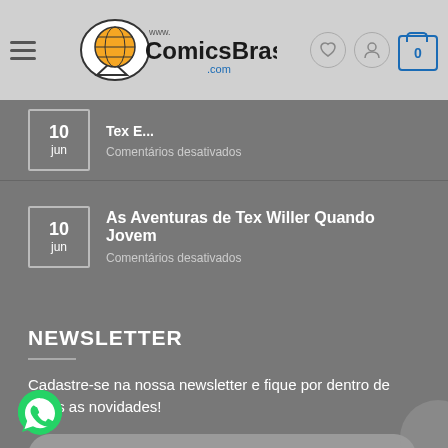ComicsBrasil.com - Navigation header with logo, hamburger menu, heart icon, user icon, and cart
10 jun - Tex E... Comentários desativados
10 jun - As Aventuras de Tex Willer Quando Jovem - Comentários desativados
NEWSLETTER
Cadastre-se na nossa newsletter e fique por dentro de todas as novidades!
Your Email (required)
SIGN UP